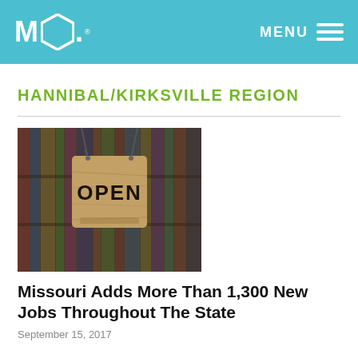MO® MENU
HANNIBAL/KIRKSVILLE REGION
[Figure (photo): A wooden 'OPEN' sign hanging by a chain in front of blurred bookshelves in the background.]
Missouri Adds More Than 1,300 New Jobs Throughout The State
September 15, 2017